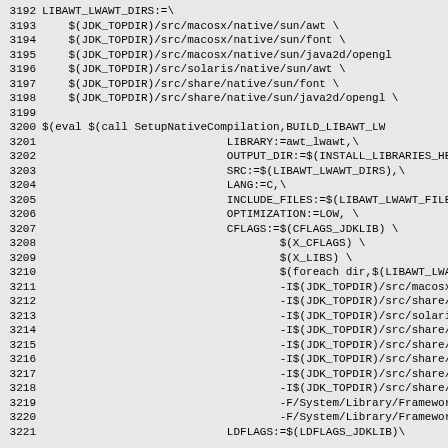3192 LIBAWT_LWAWT_DIRS:=\
3193     $(JDK_TOPDIR)/src/macosx/native/sun/awt \
3194     $(JDK_TOPDIR)/src/macosx/native/sun/font \
3195     $(JDK_TOPDIR)/src/macosx/native/sun/java2d/opengl
3196     $(JDK_TOPDIR)/src/solaris/native/sun/awt \
3197     $(JDK_TOPDIR)/src/share/native/sun/font \
3198     $(JDK_TOPDIR)/src/share/native/sun/java2d/opengl \
3199
3200 $(eval $(call SetupNativeCompilation,BUILD_LIBAWT_LW
3201                             LIBRARY:=awt_lwawt,\
3202                             OUTPUT_DIR:=$(INSTALL_LIBRARIES_HER
3203                             SRC:=$(LIBAWT_LWAWT_DIRS),\
3204                             LANG:=C,\
3205                             INCLUDE_FILES:=$(LIBAWT_LWAWT_FILES
3206                             OPTIMIZATION:=LOW, \
3207                             CFLAGS:=$(CFLAGS_JDKLIB) \
3208                                     $(X_CFLAGS) \
3209                                     $(X_LIBS) \
3210                                     $(foreach dir,$(LIBAWT_LWAWT
3211                                     -I$(JDK_TOPDIR)/src/macosx/n
3212                                     -I$(JDK_TOPDIR)/src/share/na
3213                                     -I$(JDK_TOPDIR)/src/solaris/
3214                                     -I$(JDK_TOPDIR)/src/share/na
3215                                     -I$(JDK_TOPDIR)/src/share/na
3216                                     -I$(JDK_TOPDIR)/src/share/na
3217                                     -I$(JDK_TOPDIR)/src/share/na
3218                                     -I$(JDK_TOPDIR)/src/share/na
3219                                     -F/System/Library/Frameworks
3220                                     -F/System/Library/Frameworks
3221                             LDFLAGS:=$(LDFLAGS_JDKLIB)\